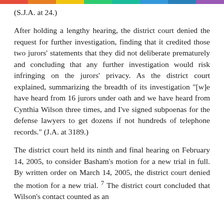(S.J.A. at 24.)
After holding a lengthy hearing, the district court denied the request for further investigation, finding that it credited those two jurors' statements that they did not deliberate prematurely and concluding that any further investigation would risk infringing on the jurors' privacy. As the district court explained, summarizing the breadth of its investigation "[w]e have heard from 16 jurors under oath and we have heard from Cynthia Wilson three times, and I've signed subpoenas for the defense lawyers to get dozens if not hundreds of telephone records." (J.A. at 3189.)
The district court held its ninth and final hearing on February 14, 2005, to consider Basham's motion for a new trial in full. By written order on March 14, 2005, the district court denied the motion for a new trial. 7 The district court concluded that Wilson's contact counted as an